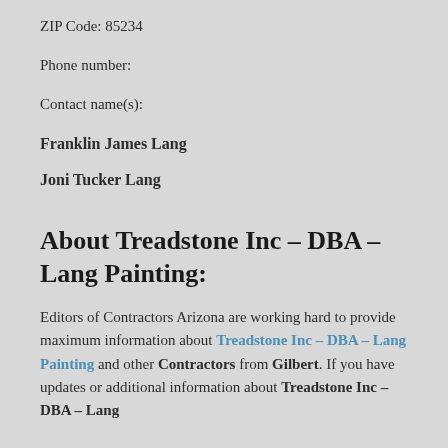ZIP Code: 85234
Phone number:
Contact name(s):
Franklin James Lang
Joni Tucker Lang
About Treadstone Inc – DBA – Lang Painting:
Editors of Contractors Arizona are working hard to provide maximum information about Treadstone Inc – DBA – Lang Painting and other Contractors from Gilbert. If you have updates or additional information about Treadstone Inc – DBA – Lang